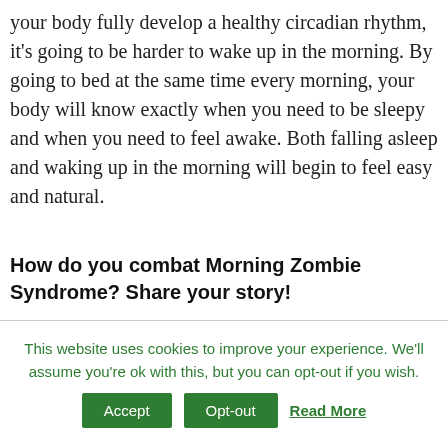your body fully develop a healthy circadian rhythm, it's going to be harder to wake up in the morning. By going to bed at the same time every morning, your body will know exactly when you need to be sleepy and when you need to feel awake. Both falling asleep and waking up in the morning will begin to feel easy and natural.
How do you combat Morning Zombie Syndrome? Share your story!
This website uses cookies to improve your experience. We'll assume you're ok with this, but you can opt-out if you wish.